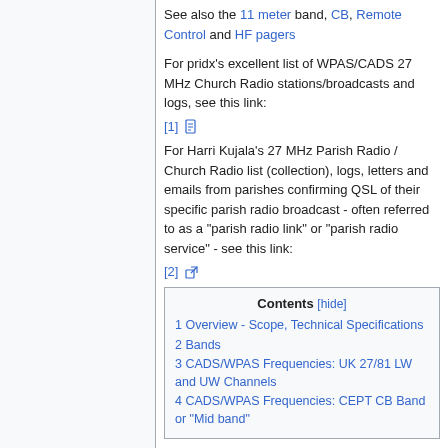See also the 11 meter band, CB, Remote Control and HF pagers
For pridx's excellent list of WPAS/CADS 27 MHz Church Radio stations/broadcasts and logs, see this link:
[1] 📋
For Harri Kujala's 27 MHz Parish Radio / Church Radio list (collection), logs, letters and emails from parishes confirming QSL of their specific parish radio broadcast - often referred to as a "parish radio link" or "parish radio service" - see this link:
[2] 🔗
| Contents [hide] |
| --- |
| 1 Overview - Scope, Technical Specifications |
| 2 Bands |
| 3 CADS/WPAS Frequencies: UK 27/81 LW and UW Channels |
| 4 CADS/WPAS Frequencies: CEPT CB Band or "Mid band" |